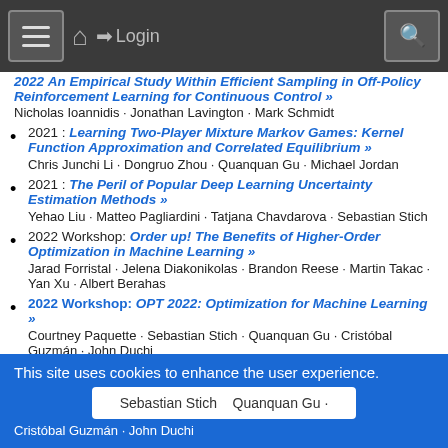Navigation bar with menu, home, login, and search
2022 An Empirical Study Within Efficient Sampling in Off-Policy Reinforcement Learning for Continuous Control » — Nicholas Ioannidis · Jonathan Lavington · Mark Schmidt
2021 : Learning Two-Player Mixture Markov Games: Kernel Function Approximation and Correlated Equilibrium » — Chris Junchi Li · Dongruo Zhou · Quanquan Gu · Michael Jordan
2021 : The Peril of Popular Deep Learning Uncertainty Estimation Methods » — Yehao Liu · Matteo Pagliardini · Tatjana Chavdarova · Sebastian Stich
2022 Workshop: Order up! The Benefits of Higher-Order Optimization in Machine Learning » — Jarad Forristal · Jelena Diakonikolas · Brandon Reese · Martin Takac · Yan Xu · Albert Berahas
2022 Workshop: OPT 2022: Optimization for Machine Learning » — Courtney Paquette · Sebastian Stich · Quanquan Gu · Cristóbal Guzmán · John Duchi
This site uses cookies to enhance the user experience.